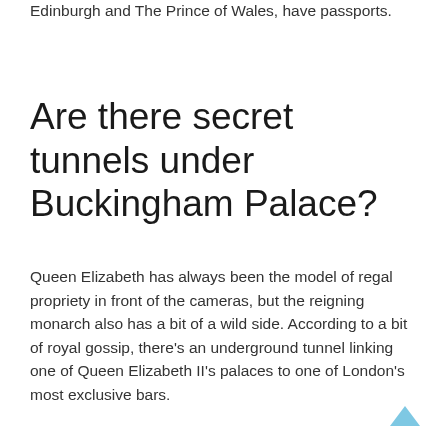Edinburgh and The Prince of Wales, have passports.
Are there secret tunnels under Buckingham Palace?
Queen Elizabeth has always been the model of regal propriety in front of the cameras, but the reigning monarch also has a bit of a wild side. According to a bit of royal gossip, there’s an underground tunnel linking one of Queen Elizabeth II’s palaces to one of London’s most exclusive bars.